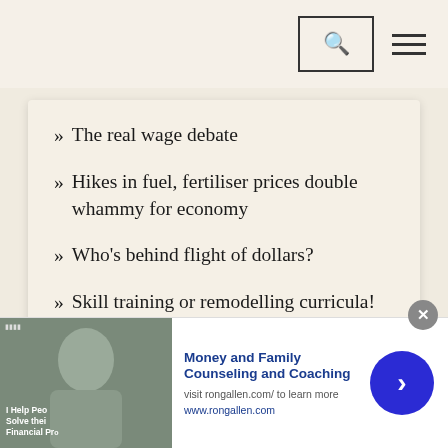Navigation bar with search and menu icons
» The real wage debate
» Hikes in fuel, fertiliser prices double whammy for economy
» Who's behind flight of dollars?
» Skill training or remodelling curricula!
[Figure (other): Advertisement banner for Money and Family Counseling and Coaching by Ron Allen, with photo of a man, title text, website URL www.rongallen.com, a close (x) button, and a blue circular arrow button]